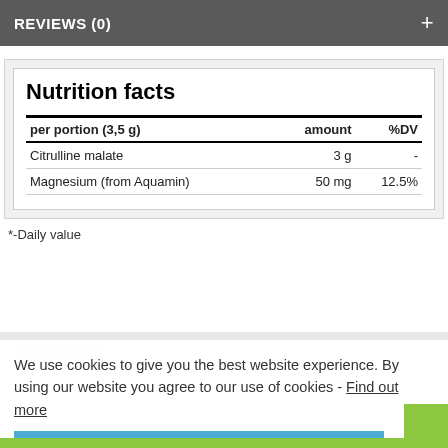REVIEWS (0)  +
| per portion (3,5 g) | amount | %DV |
| --- | --- | --- |
| Citrulline malate | 3 g | - |
| Magnesium (from Aquamin) | 50 mg | 12.5% |
*-Daily value
Ingredients
We use cookies to give you the best website experience. By using our website you agree to our use of cookies - Find out more
CLOSE